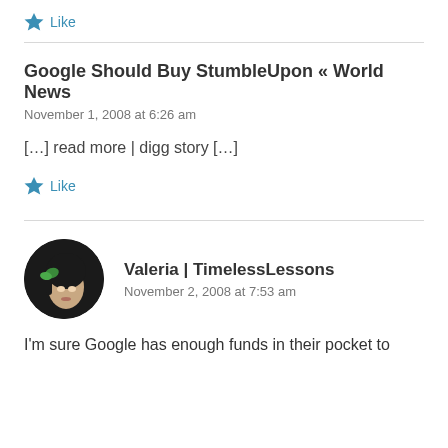Like
Google Should Buy StumbleUpon « World News
November 1, 2008 at 6:26 am
[…] read more | digg story […]
Like
Valeria | TimelessLessons
November 2, 2008 at 7:53 am
I'm sure Google has enough funds in their pocket to